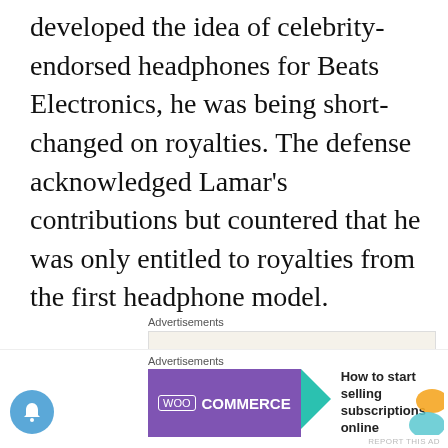developed the idea of celebrity-endorsed headphones for Beats Electronics, he was being short-changed on royalties. The defense acknowledged Lamar's contributions but countered that he was only entitled to royalties from the first headphone model.
[Figure (other): Advertisement block: 'Advertisements' label above a beige box with text 'Professionally designed sites in less than a week' and a WordPress logo circle on the right. 'REPORT THIS AD' in small text below.]
A judge rejected Lamar's claims in June 2015, but
[Figure (other): Bottom advertisement bar: 'Advertisements' label above a WooCommerce ad with purple background, teal arrow, and text 'How to start selling subscriptions online'. Notification bell button on lower left, close X button on right.]